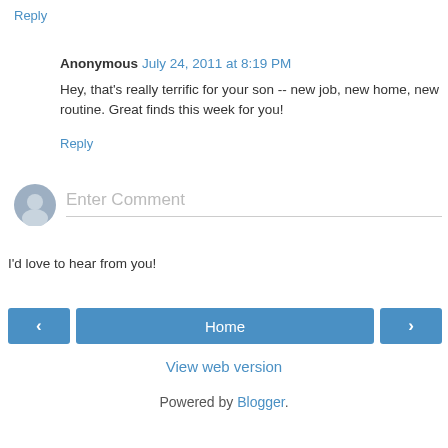Reply
Anonymous July 24, 2011 at 8:19 PM
Hey, that's really terrific for your son -- new job, new home, new routine. Great finds this week for you!
Reply
[Figure (other): User avatar placeholder icon (grey circle with person silhouette)]
Enter Comment
I'd love to hear from you!
< Home >
View web version
Powered by Blogger.